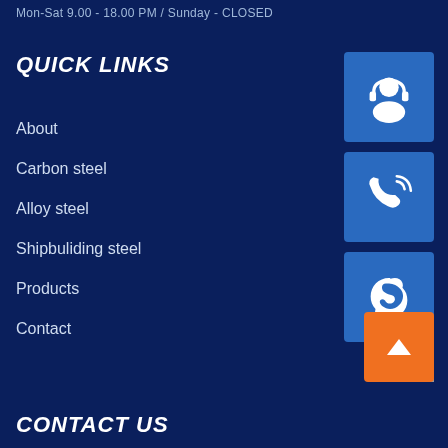Mon-Sat 9.00 - 18.00 PM / Sunday - CLOSED
QUICK LINKS
About
Carbon steel
Alloy steel
Shipbuliding steel
Products
Contact
[Figure (illustration): Customer support / headset icon in blue square]
[Figure (illustration): Phone / call icon in blue square]
[Figure (illustration): Skype icon in blue square]
[Figure (illustration): Broken image icon]
[Figure (illustration): Orange scroll-to-top button with arrow icon]
CONTACT US